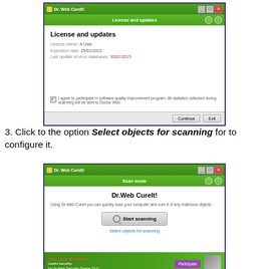[Figure (screenshot): Dr. Web CureIt! application window showing 'License and updates' screen with license owner 'A User', expiration date 25/01/2015, last update of virus databases 30/01/2015 (in red), a checkbox for software quality improvement program, and Continue/Exit buttons.]
3. Click to the option Select objects for scanning for to configure it.
[Figure (screenshot): Dr. Web CureIt! application window showing 'Scan mode' screen with 'Dr.Web CureIt!' heading, description text, 'Start scanning' button, 'Select objects for scanning' link, and a green promotional banner at the bottom.]